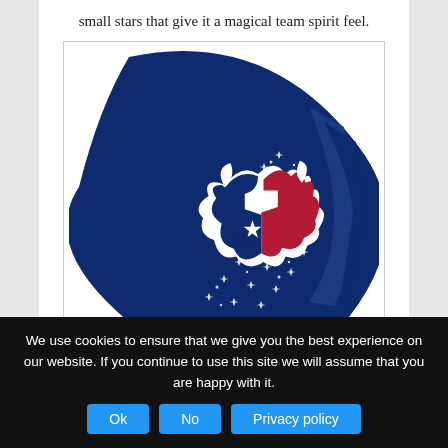small stars that give it a magical team spirit feel.
[Figure (photo): Houston Texans NFL team logo on a dark navy blue football-shaped item with decorative small white stars scattered across the right side, giving a magical team spirit feel.]
We use cookies to ensure that we give you the best experience on our website. If you continue to use this site we will assume that you are happy with it.